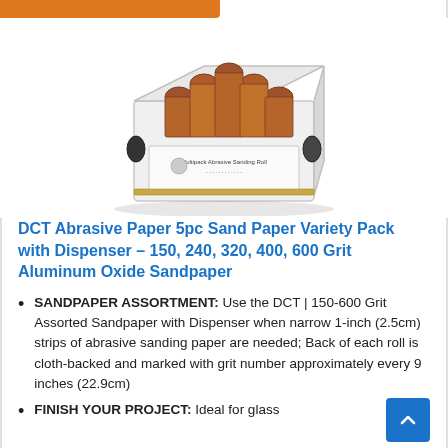[Figure (photo): Product photo of DCT Abrasive Paper 5pc Sand Paper Variety Pack with Dispenser — a white box-style dispenser holding 5 rolls of brown sandpaper]
DCT Abrasive Paper 5pc Sand Paper Variety Pack with Dispenser – 150, 240, 320, 400, 600 Grit Aluminum Oxide Sandpaper
SANDPAPER ASSORTMENT: Use the DCT | 150-600 Grit Assorted Sandpaper with Dispenser when narrow 1-inch (2.5cm) strips of abrasive sanding paper are needed; Back of each roll is cloth-backed and marked with grit number approximately every 9 inches (22.9cm)
FINISH YOUR PROJECT: Ideal for glass